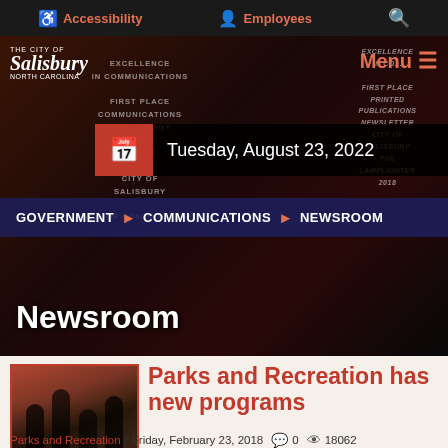Accessibility  Employees  Search
[Figure (screenshot): City of Salisbury government website newsroom page header with award trophies in background, date Tuesday August 23 2022, breadcrumb navigation GOVERNMENT > COMMUNICATIONS > NEWSROOM, and Newsroom title overlay]
Newsroom
[Figure (photo): Photo of people dancing in a recreation class]
Parks and Recreation has new programs
Parks and Recreation / Friday, February 23, 2018  0  18062
Salisbury residents who have vowed to increase their exercise and learn